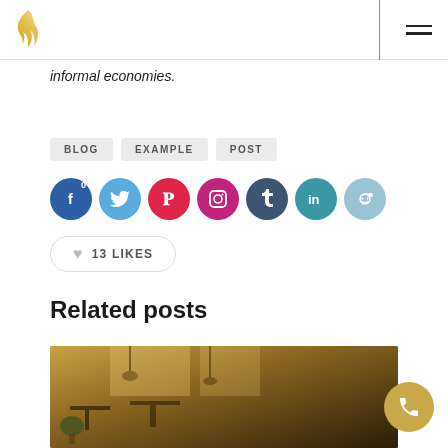Logo and navigation header
informal economies.
BLOG
EXAMPLE
POST
[Figure (infographic): Social share buttons row: Facebook (0), Twitter, Pinterest, Instagram, Tumblr, LinkedIn, Reddit]
13 LIKES
Related posts
[Figure (photo): Interior restaurant or cafe photo with warm amber/brown tones showing tables, chairs, and lighting fixtures]